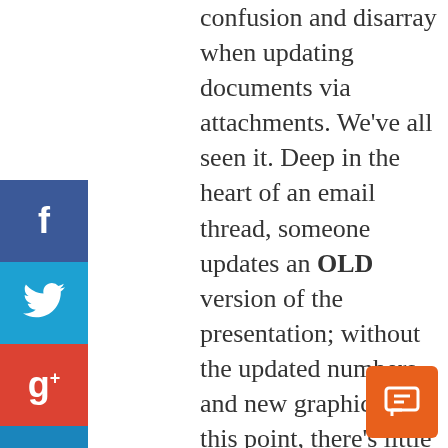confusion and disarray when updating documents via attachments. We've all seen it. Deep in the heart of an email thread, someone updates an OLD version of the presentation; without the updated numbers and new graphics. By this point, there's little stopping the flood of confused and distressed emails from working their evil magic and turning a very civilized collaboration into a corporate anarchist's dream. Hours later, someone manages to fix the issue and send out an updated version in an entirely new chain.
[Figure (infographic): Social media sharing sidebar with Facebook (blue), Twitter (light blue), Google+ (red), and LinkedIn (blue) buttons, and a collapse arrow tab below.]
[Figure (illustration): Orange chat/comment button in the bottom right corner.]